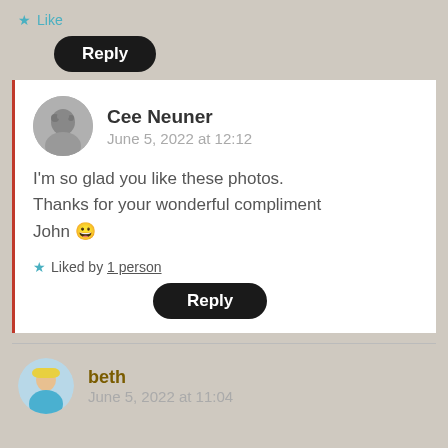Like
Reply
Cee Neuner
June 5, 2022 at 12:12
I'm so glad you like these photos. Thanks for your wonderful compliment John 😀
Liked by 1 person
Reply
beth
June 5, 2022 at 11:04